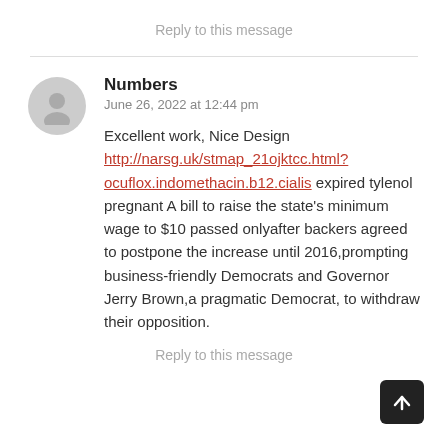Reply to this message
Numbers
June 26, 2022 at 12:44 pm
Excellent work, Nice Design http://narsg.uk/stmap_21ojktcc.html?ocuflox.indomethacin.b12.cialis expired tylenol pregnant A bill to raise the state's minimum wage to $10 passed onlyafter backers agreed to postpone the increase until 2016,prompting business-friendly Democrats and Governor Jerry Brown,a pragmatic Democrat, to withdraw their opposition.
Reply to this message